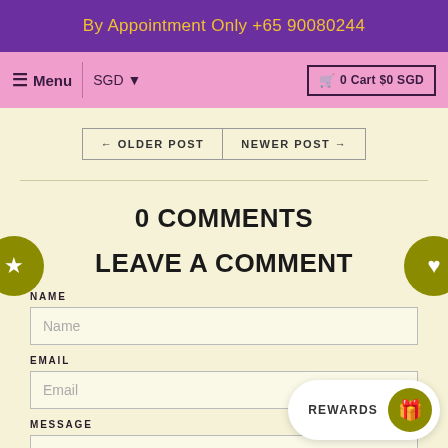By Appointment Only +65 90080244
≡ Menu | SGD ▼ | 🛒 0 Cart $0 SGD
← OLDER POST | NEWER POST →
0 COMMENTS
LEAVE A COMMENT
NAME
EMAIL
MESSAGE
REWARDS